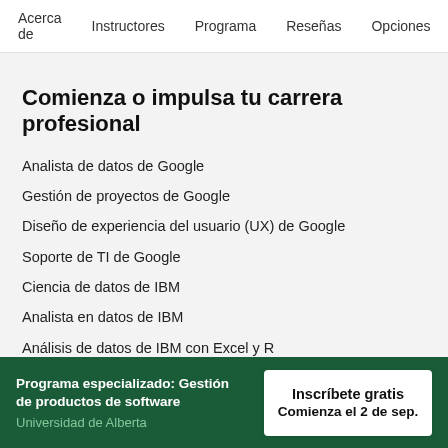Acerca de    Instructores    Programa    Reseñas    Opciones
Comienza o impulsa tu carrera profesional
Analista de datos de Google
Gestión de proyectos de Google
Diseño de experiencia del usuario (UX) de Google
Soporte de TI de Google
Ciencia de datos de IBM
Analista en datos de IBM
Análisis de datos de IBM con Excel y R
Programa especializado: Gestión de productos de software | Universidad de Alberta | Inscríbete gratis | Comienza el 2 de sep.